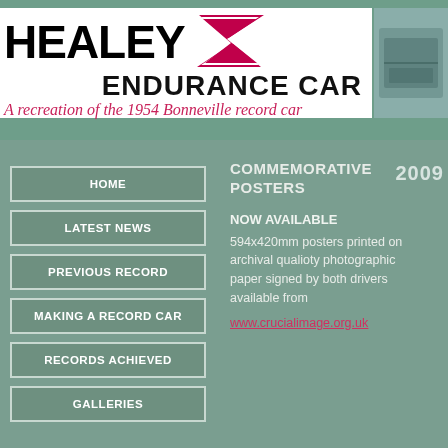[Figure (logo): Healey Z Endurance Car logo with bold black HEALEY text, crimson Z lightning bolt graphic, ENDURANCE CAR subtitle]
A recreation of the 1954 Bonneville record car
HOME
LATEST NEWS
PREVIOUS RECORD
MAKING A RECORD CAR
RECORDS ACHIEVED
GALLERIES
COMMEMORATIVE POSTERS
NOW AVAILABLE
594x420mm posters printed on archival qualioty photographic paper signed by both drivers available from
www.crucialimage.org.uk
2009